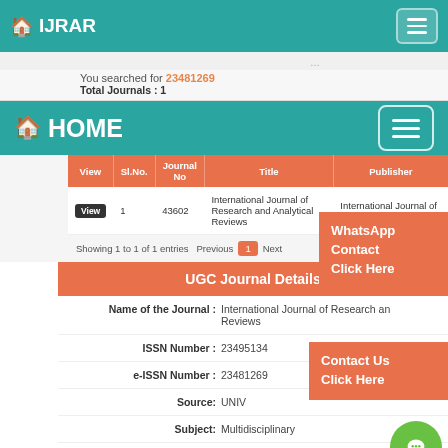IJRAR
You searched for 23481269
Total Journals : 1
HOME
| View | Sl.No. | Journal No | Title | Publisher |
| --- | --- | --- | --- | --- |
| View | 1 | 43602 | International Journal of Research and Analytical Reviews | International Journal of Research and Reviews |
Showing 1 to 1 of 1 entries   Previous 1 Next
UGC Journal Details
Name of the Journal : International Journal of Research and Analytical Reviews
ISSN Number : 23495134
e-ISSN Number : 23481269
Source: UNIV
Subject: Multidisciplinary
WhatsApp Contact Click Here
Contact Us Click Here